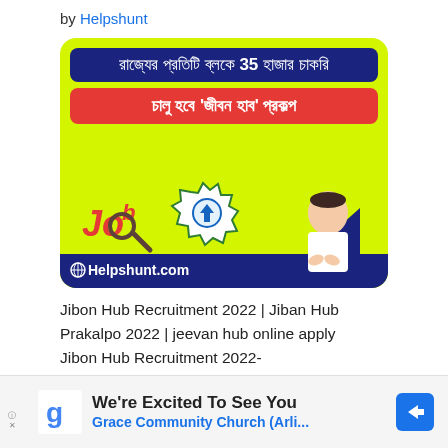by Helpshunt
[Figure (illustration): Promotional banner image for Helpshunt.com featuring Bengali text about Jibon Hub Prakalpo (35,000 jobs in every block of the state), a JOB logo, a seal/badge, a photo of a politician, on a yellow-green background with dark blue and red banner text strips.]
Jibon Hub Recruitment 2022 | Jiban Hub Prakalpo 2022 | jeevan hub online apply Jibon Hub Recruitment 2022- Helpshunt:
[Figure (infographic): Advertisement banner: Google 'g' logo on left, text 'We're Excited To See You' in bold black and 'Grace Community Church (Arli...' in blue, blue diamond arrow icon on right, on light grey background.]